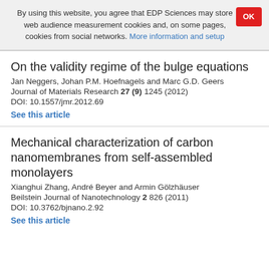By using this website, you agree that EDP Sciences may store web audience measurement cookies and, on some pages, cookies from social networks. More information and setup
On the validity regime of the bulge equations
Jan Neggers, Johan P.M. Hoefnagels and Marc G.D. Geers
Journal of Materials Research 27 (9) 1245 (2012)
DOI: 10.1557/jmr.2012.69
See this article
Mechanical characterization of carbon nanomembranes from self-assembled monolayers
Xianghui Zhang, André Beyer and Armin Gölzhäuser
Beilstein Journal of Nanotechnology 2 826 (2011)
DOI: 10.3762/bjnano.2.92
See this article